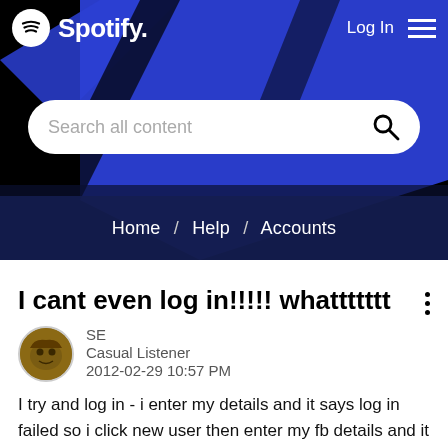[Figure (screenshot): Spotify website header with logo, Log In button, hamburger menu, blue diagonal background shapes, and search bar reading 'Search all content']
Home / Help / Accounts
I cant even log in!!!!! whattttttt
SE
Casual Listener
2012-02-29 10:57 PM
I try and log in - i enter my details and it says log in failed so i click new user then enter my fb details and it says i have an